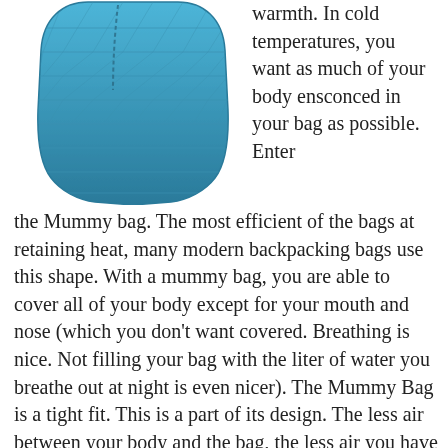[Figure (photo): A teal/blue mummy sleeping bag shown from the front, tapered toward the foot end, with quilted stitching pattern visible.]
warmth. In cold temperatures, you want as much of your body ensconced in your bag as possible. Enter the Mummy bag. The most efficient of the bags at retaining heat, many modern backpacking bags use this shape. With a mummy bag, you are able to cover all of your body except for your mouth and nose (which you don't want covered. Breathing is nice. Not filling your bag with the liter of water you breathe out at night is even nicer). The Mummy Bag is a tight fit. This is a part of its design. The less air between your body and the bag, the less air you have to warm before it gets caught in the insulation. This can be uncomfortable for some. It takes some practice for most to sleep in a fetal position with little room to move inside of a bag. Despite this drawback, the Mummy Bag remains popular and this is why: unmatched heat retention.